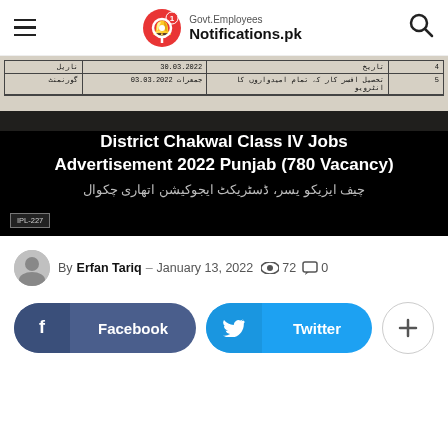Govt.Employees Notifications.pk
[Figure (screenshot): Article thumbnail image showing a Urdu newspaper job advertisement table for District Chakwal Class IV Jobs with overlay text: 'District Chakwal Class IV Jobs Advertisement 2022 Punjab (780 Vacancy)' and IPL-227 badge at bottom left, with Urdu text at the bottom.]
By Erfan Tariq – January 13, 2022  72  0
Facebook  Twitter  +